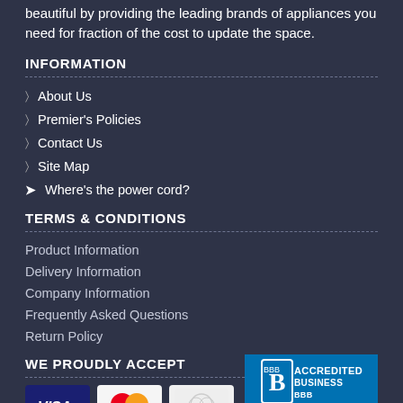beautiful by providing the leading brands of appliances you need for fraction of the cost to update the space.
INFORMATION
About Us
Premier's Policies
Contact Us
Site Map
Where's the power cord?
TERMS & CONDITIONS
Product Information
Delivery Information
Company Information
Frequently Asked Questions
Return Policy
WE PROUDLY ACCEPT
[Figure (logo): BBB Accredited Business badge in blue]
[Figure (logo): Payment method logos: VISA, MasterCard, Diners Club, Discover]